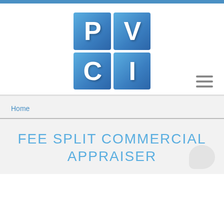[Figure (logo): PVCI logo — a 2x2 grid of blue squares each containing a white letter: P, V, C, I]
Home
FEE SPLIT COMMERCIAL APPRAISER